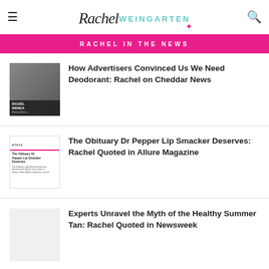Rachel Weingarten
RACHEL IN THE NEWS
How Advertisers Convinced Us We Need Deodorant: Rachel on Cheddar News
The Obituary Dr Pepper Lip Smacker Deserves: Rachel Quoted in Allure Magazine
Experts Unravel the Myth of the Healthy Summer Tan: Rachel Quoted in Newsweek